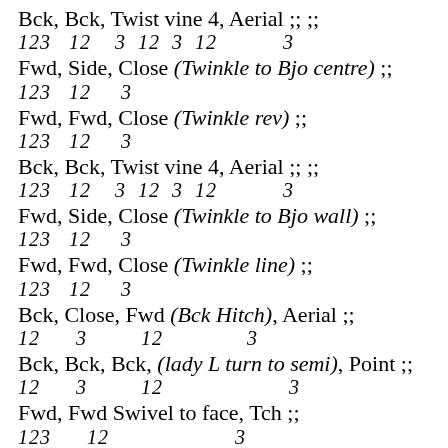Bck, Bck, Twist vine 4, Aerial ;; ;;
123  12  3  12  3  12          3
Fwd, Side, Close (Twinkle to Bjo centre) ;;
123  12  3
Fwd, Fwd, Close (Twinkle rev) ;;
123  12  3
Bck, Bck, Twist vine 4, Aerial ;; ;;
123  12  3  12  3  12          3
Fwd, Side, Close (Twinkle to Bjo wall) ;;
123  12  3
Fwd, Fwd, Close (Twinkle line) ;;
123  12  3
Bck, Close, Fwd (Bck Hitch), Aerial ;;
12   3       12             3
Bck, Bck, Bck, (lady L turn to semi), Point ;;
12   3       12                    3
Fwd, Fwd Swivel to face, Tch ;;
123  12                    3
Fwd (lady around to rev), Side, Tch ;;
123           12  3